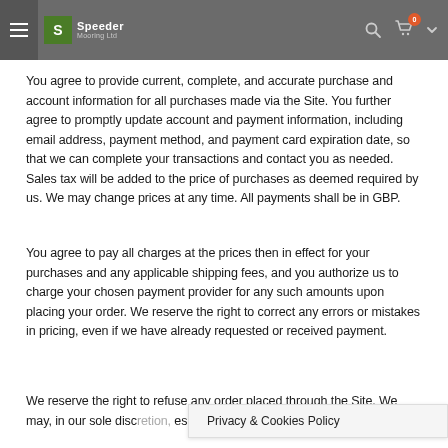Speeder Mooring Ltd
You agree to provide current, complete, and accurate purchase and account information for all purchases made via the Site. You further agree to promptly update account and payment information, including email address, payment method, and payment card expiration date, so that we can complete your transactions and contact you as needed. Sales tax will be added to the price of purchases as deemed required by us. We may change prices at any time. All payments shall be in GBP.
You agree to pay all charges at the prices then in effect for your purchases and any applicable shipping fees, and you authorize us to charge your chosen payment provider for any such amounts upon placing your order. We reserve the right to correct any errors or mistakes in pricing, even if we have already requested or received payment.
We reserve the right to refuse any order placed through the Site. We may, in our sole disc... es purchased per person, p... those
Privacy & Cookies Policy